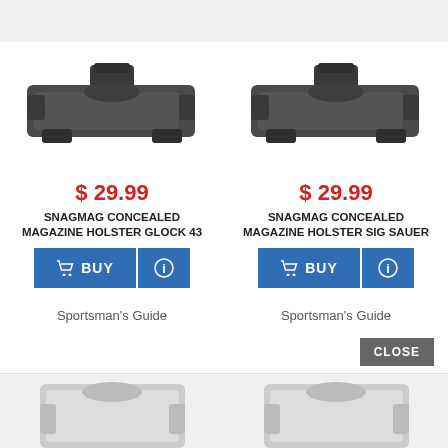[Figure (photo): Dark gray SnagMag concealed magazine holster for Glock 43]
$ 29.99
SNAGMAG CONCEALED MAGAZINE HOLSTER GLOCK 43
BUY
Sportsman's Guide
[Figure (photo): Dark gray SnagMag concealed magazine holster for Sig Sauer]
$ 29.99
SNAGMAG CONCEALED MAGAZINE HOLSTER SIG SAUER
BUY
Sportsman's Guide
CLOSE
[Figure (photo): Light gray holster partially visible at bottom left]
[Figure (photo): Light gray holster partially visible at bottom right]